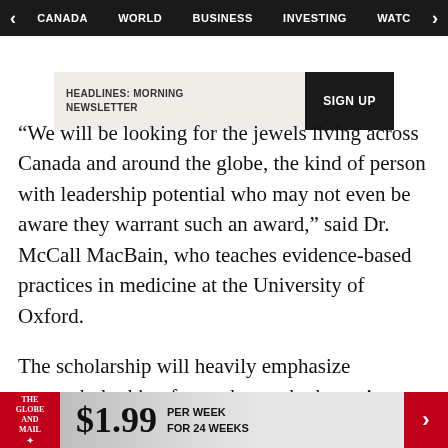CANADA  WORLD  BUSINESS  INVESTING  WATC
[Figure (screenshot): Newsletter signup banner reading 'HEADLINES: MORNING NEWSLETTER' with a 'SIGN UP' button]
“We will be looking for the jewels living across Canada and around the globe, the kind of person with leadership potential who may not even be aware they warrant such an award,” said Dr. McCall MacBain, who teaches evidence-based practices in medicine at the University of Oxford.
The scholarship will heavily emphasize outreach, looking for students who haven’t even applied to McGill and creating a community where alumni will support newcomers. The couple will help set up
THE GLOBE AND MAIL ★  $1.99 PER WEEK FOR 24 WEEKS  ›